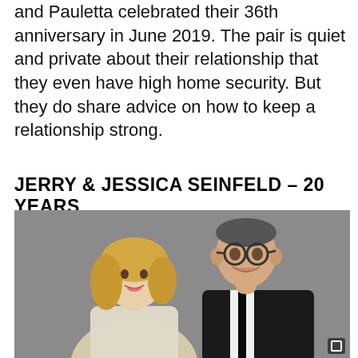and Pauletta celebrated their 36th anniversary in June 2019. The pair is quiet and private about their relationship that they even have high home security. But they do share advice on how to keep a relationship strong.
JERRY & JESSICA SEINFELD – 20 YEARS
[Figure (photo): Photo of Jerry and Jessica Seinfeld posing together in formal attire against a grey background]